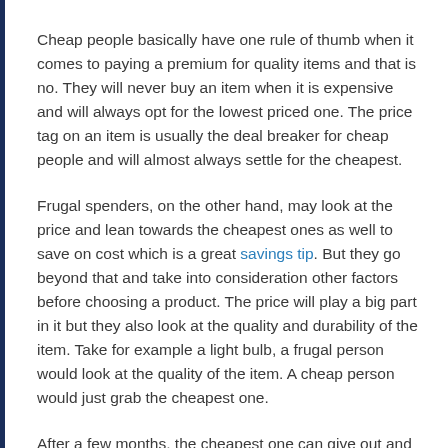Cheap people basically have one rule of thumb when it comes to paying a premium for quality items and that is no. They will never buy an item when it is expensive and will always opt for the lowest priced one. The price tag on an item is usually the deal breaker for cheap people and will almost always settle for the cheapest.
Frugal spenders, on the other hand, may look at the price and lean towards the cheapest ones as well to save on cost which is a great savings tip. But they go beyond that and take into consideration other factors before choosing a product. The price will play a big part in it but they also look at the quality and durability of the item. Take for example a light bulb, a frugal person would look at the quality of the item. A cheap person would just grab the cheapest one.
After a few months, the cheapest one can give out and the person would need to buy another one. While the frugal